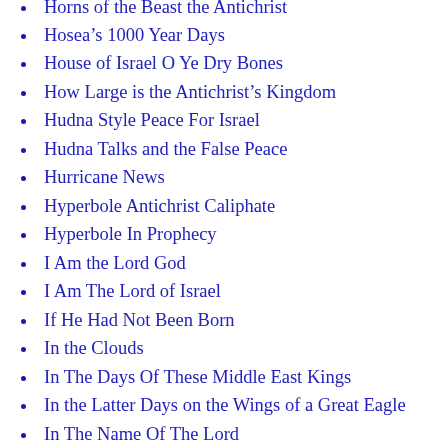Horns of the Beast the Antichrist
Hosea’s 1000 Year Days
House of Israel O Ye Dry Bones
How Large is the Antichrist’s Kingdom
Hudna Style Peace For Israel
Hudna Talks and the False Peace
Hurricane News
Hyperbole Antichrist Caliphate
Hyperbole In Prophecy
I Am the Lord God
I Am The Lord of Israel
If He Had Not Been Born
In the Clouds
In The Days Of These Middle East Kings
In the Latter Days on the Wings of a Great Eagle
In The Name Of The Lord